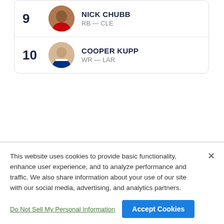9 NICK CHUBB RB — CLE
10 COOPER KUPP WR — LAR
VIEW ALL RANKINGS
This website uses cookies to provide basic functionality, enhance user experience, and to analyze performance and traffic. We also share information about your use of our site with our social media, advertising, and analytics partners.
By using this website you agree to our Terms of Use.
Do Not Sell My Personal Information
Accept Cookies